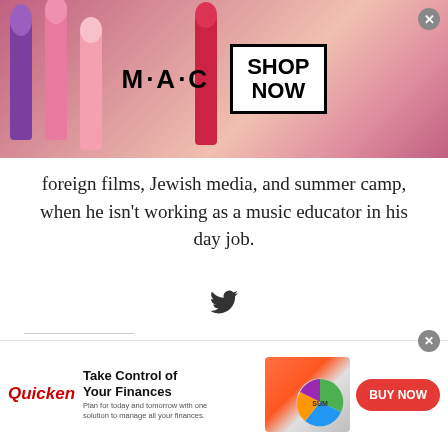[Figure (photo): MAC cosmetics advertisement banner with lipsticks and 'SHOP NOW' box]
foreign films, Jewish media, and summer camp, when he isn't working as a music educator in his day job.
[Figure (other): Twitter bird icon]
Share this:
[Figure (other): Social share buttons: Twitter, Reddit, Pinterest, Facebook, Tumblr, Pocket, LinkedIn, More]
Like this:
Privacy & Cookies: This site uses cookies. By continuing to use this website,
[Figure (other): Quicken advertisement: Take Control of Your Finances - BUY NOW]